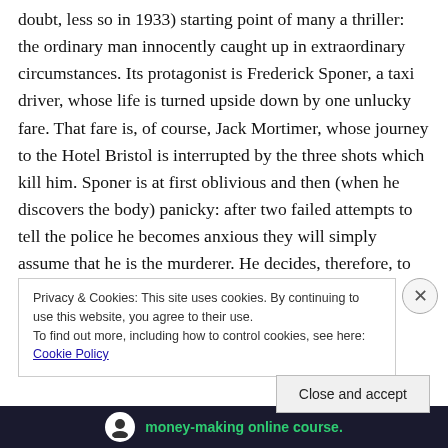(…doubt, less so in 1933) starting point of many a thriller: the ordinary man innocently caught up in extraordinary circumstances. Its protagonist is Frederick Sponer, a taxi driver, whose life is turned upside down by one unlucky fare. That fare is, of course, Jack Mortimer, whose journey to the Hotel Bristol is interrupted by the three shots which kill him. Sponer is at first oblivious and then (when he discovers the body) panicky: after two failed attempts to tell the police he becomes anxious they will simply assume that he is the murderer. He decides, therefore, to
Privacy & Cookies: This site uses cookies. By continuing to use this website, you agree to their use.
To find out more, including how to control cookies, see here: Cookie Policy
Close and accept
[Figure (other): Advertisement banner at bottom of page showing a dark background with a circular icon and green text reading 'money-making online course.']